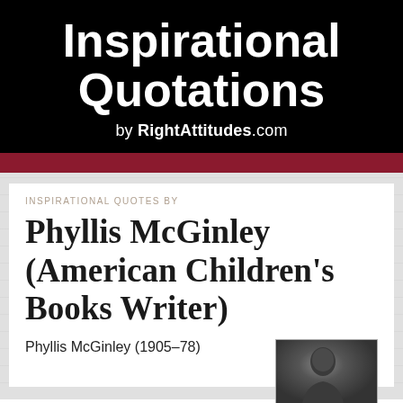Inspirational Quotations by RightAttitudes.com
INSPIRATIONAL QUOTES BY
Phyllis McGinley (American Children's Books Writer)
Phyllis McGinley (1905–78)
[Figure (photo): Black and white photograph of Phyllis McGinley]